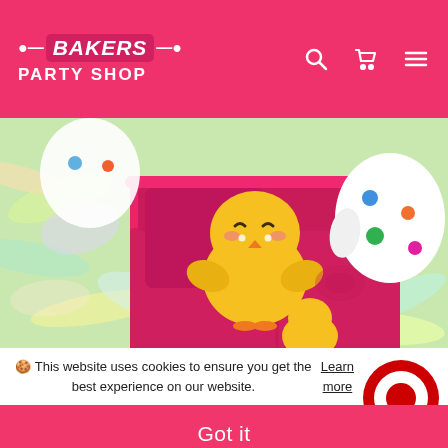Bakers Party Shop
[Figure (photo): Close-up photo of cute Easter/spring themed toy figures in a bright pink egg carton, including a yellow chick and white egg-shaped character with colorful polka dots, surrounded by iridescent holographic shredded paper.]
🍪 This website uses cookies to ensure you get the best experience on our website. Learn more
[Figure (logo): Target store circular logo (red and white bullseye) with an X close button]
Got it